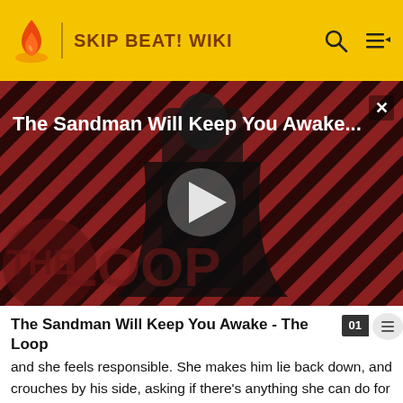SKIP BEAT! WIKI
[Figure (screenshot): Video player showing 'The Sandman Will Keep You Awake...' with a figure in black cape against a diagonal striped red and dark background. THE LOOP watermark visible. Play button triangle in center.]
The Sandman Will Keep You Awake - The Loop
and she feels responsible. She makes him lie back down, and crouches by his side, asking if there's anything she can do for him. Ren is still swimming in the way Sho made him feel the last from the original, it is...